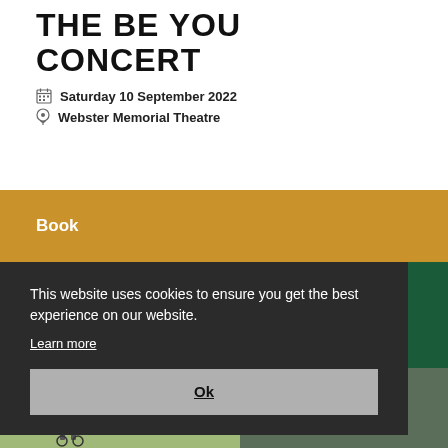THE BE YOU CONCERT
Saturday 10 September 2022
Webster Memorial Theatre
Book
This website uses cookies to ensure you get the best experience on our website.
Learn more
Ok
[Figure (photo): Bottom photo strip showing cyclists/people outdoors]